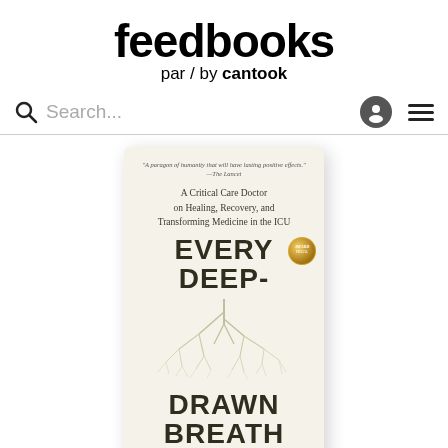[Figure (logo): Feedbooks par / by cantook logo in bold black text]
Search...
[Figure (photo): Book cover of 'Every Deep-Drawn Breath' by Wes Ely, MD — A Critical Care Doctor on Healing, Recovery, and Transforming Medicine in the ICU. Cream colored cover with botanical branch artwork and a gold award medal.]